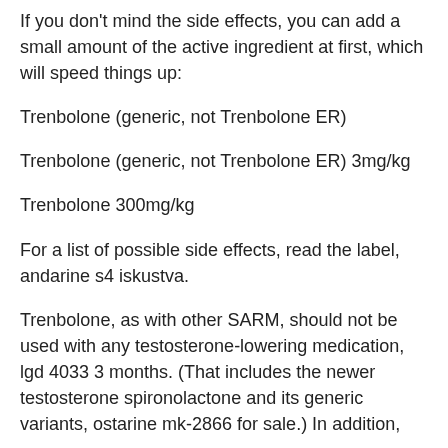If you don't mind the side effects, you can add a small amount of the active ingredient at first, which will speed things up:
Trenbolone (generic, not Trenbolone ER)
Trenbolone (generic, not Trenbolone ER) 3mg/kg
Trenbolone 300mg/kg
For a list of possible side effects, read the label, andarine s4 iskustva.
Trenbolone, as with other SARM, should not be used with any testosterone-lowering medication, lgd 4033 3 months. (That includes the newer testosterone spironolactone and its generic variants, ostarine mk-2866 for sale.) In addition,